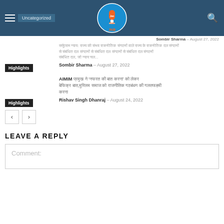Jan ki Baat - Uncategorized
Sombir Sharma – August 27, 2022
Hindi article text (Devanagari): भारतीय जनता: राज्य की संभव राजनीतिक संगठनों वाले राज्य के राजनीतिक दल संगठनों से संबं...
Highlights – Sombir Sharma – August 27, 2022
AIMIM प्रमुख ने 'नफरत की बात करना' को लेकर बेफिक्र बात,मुस्लिम समाज को राजनीतिक गठबंधन की गलतफहमी करना
Highlights – Rishav Singh Dhanraj – August 24, 2022
LEAVE A REPLY
Comment: